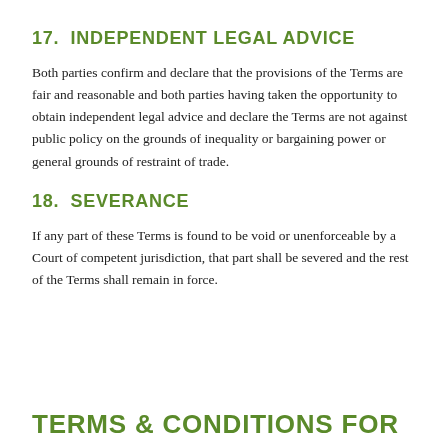17.  INDEPENDENT LEGAL ADVICE
Both parties confirm and declare that the provisions of the Terms are fair and reasonable and both parties having taken the opportunity to obtain independent legal advice and declare the Terms are not against public policy on the grounds of inequality or bargaining power or general grounds of restraint of trade.
18.  SEVERANCE
If any part of these Terms is found to be void or unenforceable by a Court of competent jurisdiction, that part shall be severed and the rest of the Terms shall remain in force.
TERMS & CONDITIONS FOR